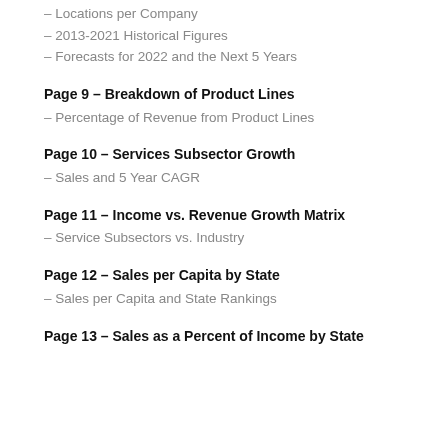– Locations per Company
– 2013-2021 Historical Figures
– Forecasts for 2022 and the Next 5 Years
Page 9 – Breakdown of Product Lines
– Percentage of Revenue from Product Lines
Page 10 – Services Subsector Growth
– Sales and 5 Year CAGR
Page 11 – Income vs. Revenue Growth Matrix
– Service Subsectors vs. Industry
Page 12 – Sales per Capita by State
– Sales per Capita and State Rankings
Page 13 – Sales as a Percent of Income by State